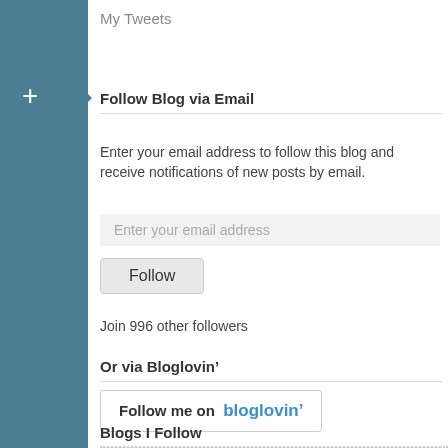My Tweets
Follow Blog via Email
Enter your email address to follow this blog and receive notifications of new posts by email.
Enter your email address
Follow
Join 996 other followers
Or via Bloglovin’
[Figure (logo): Follow me on bloglovin' button]
Blogs I Follow
Fresh Korean